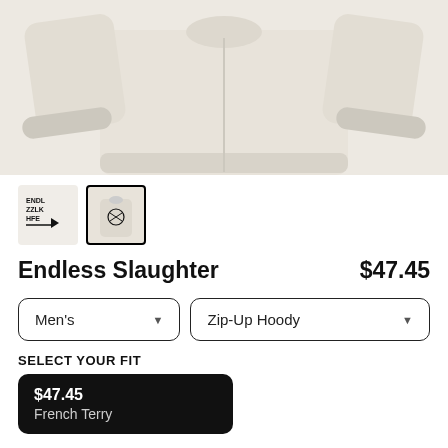[Figure (photo): Product photo of a light beige/cream zip-up hoodie laid flat, showing both sleeves and the body of the garment]
[Figure (photo): Two thumbnail images: first shows a text logo thumbnail (ENDL/ZZLK/HFE with arrow graphic), second is selected with black border showing back view of hoodie with graphic print]
Endless Slaughter
$47.45
Men's
Zip-Up Hoody
SELECT YOUR FIT
$47.45
French Terry